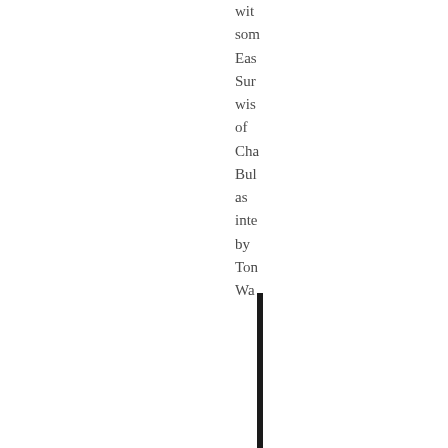wit
som
Eas
Sur
wis
of
Cha
Bul
as
inte
by
Ton
Wa
[Figure (other): Vertical black rule/divider line]